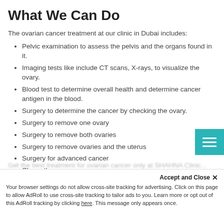What We Can Do
The ovarian cancer treatment at our clinic in Dubai includes:
Pelvic examination to assess the pelvis and the organs found in it.
Imaging tests like include CT scans, X-rays, to visualize the ovary.
Blood test to determine overall health and determine cancer antigen in the blood.
Surgery to determine the cancer by checking the ovary.
Surgery to remove one ovary
Surgery to remove both ovaries
Surgery to remove ovaries and the uterus
Surgery for advanced cancer
Chemotherapy
Targeted therapy
Palliative care
Your browser settings do not allow cross-site tracking for advertising. Click on this page to allow AdRoll to use cross-site tracking to tailor ads to you. Learn more or opt out of this AdRoll tracking by clicking here. This message only appears once.